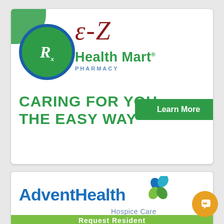[Figure (logo): E-Z Health Mart Pharmacy advertisement with Rx logo circle, italic red E-Z script text, green HealthMart text, and tagline 'CARING FOR YOU THE EASY WAY' with a green Learn More button]
[Figure (logo): AdventHealth Hospice Care advertisement logo with four-leaf cross symbol and 'Request Resident' green banner at bottom]